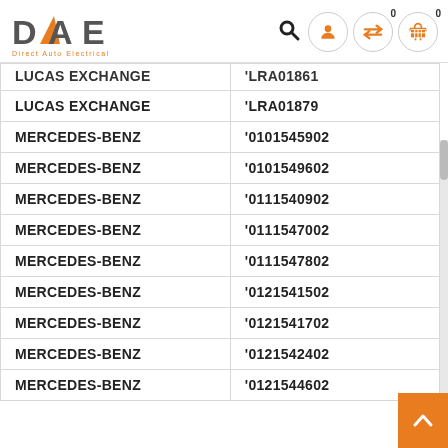DAE Direct Auto Electrical
| Brand | Part Number |
| --- | --- |
| LUCAS EXCHANGE | 'LRA01861 |
| LUCAS EXCHANGE | 'LRA01879 |
| MERCEDES-BENZ | '0101545902 |
| MERCEDES-BENZ | '0101549602 |
| MERCEDES-BENZ | '0111540902 |
| MERCEDES-BENZ | '0111547002 |
| MERCEDES-BENZ | '0111547802 |
| MERCEDES-BENZ | '0121541502 |
| MERCEDES-BENZ | '0121541702 |
| MERCEDES-BENZ | '0121542402 |
| MERCEDES-BENZ | '0121544602 |